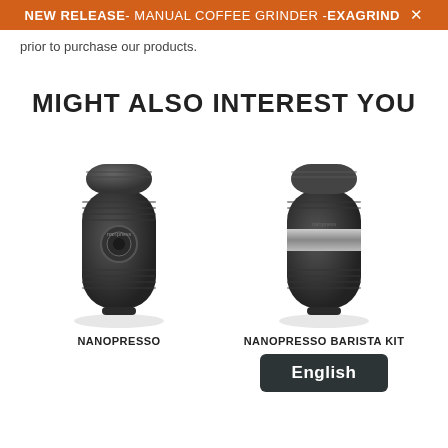NEW RELEASE - MANUAL COFFEE GRINDER - EXAGRIND  X
prior to purchase our products.
MIGHT ALSO INTEREST YOU
[Figure (photo): Nanopresso portable espresso maker, black, compact pill-shaped device with ribbed grip and circular button on front]
NANOPRESSO
[Figure (photo): Nanopresso Barista Kit portable espresso maker, black with silver band, compact pill-shaped device with ribbed grip]
NANOPRESSO BARISTA KIT
English